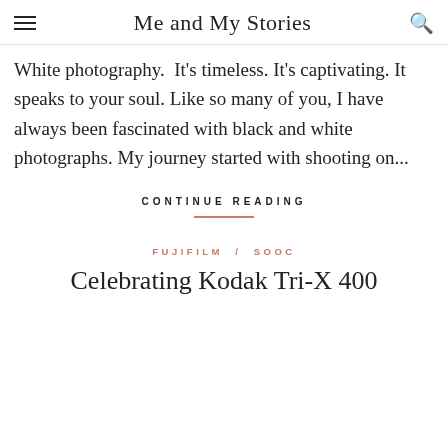Me and My Stories
White photography. It's timeless. It's captivating. It speaks to your soul. Like so many of you, I have always been fascinated with black and white photographs. My journey started with shooting on...
CONTINUE READING
FUJIFILM / SOOC
Celebrating Kodak Tri-X 400